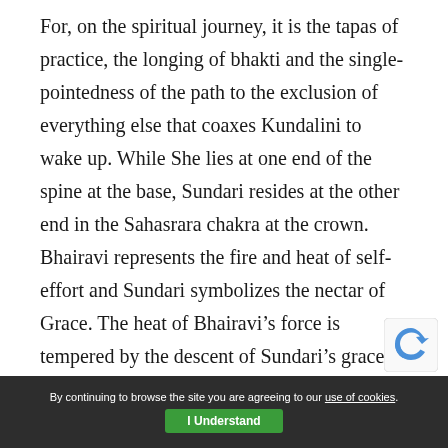For, on the spiritual journey, it is the tapas of practice, the longing of bhakti and the single-pointedness of the path to the exclusion of everything else that coaxes Kundalini to wake up. While She lies at one end of the spine at the base, Sundari resides at the other end in the Sahasrara chakra at the crown. Bhairavi represents the fire and heat of self-effort and Sundari symbolizes the nectar of Grace. The heat of Bhairavi’s force is tempered by the descent of Sundari’s grace, the ascent and descent of self-effort and Grace being a dance of immense proportions in the sadhana of the Mahavidyas.
By continuing to browse the site you are agreeing to our use of cookies. I Understand